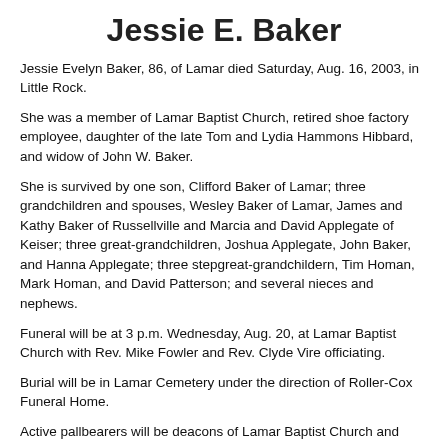Jessie E. Baker
Jessie Evelyn Baker, 86, of Lamar died Saturday, Aug. 16, 2003, in Little Rock.
She was a member of Lamar Baptist Church, retired shoe factory employee, daughter of the late Tom and Lydia Hammons Hibbard, and widow of John W. Baker.
She is survived by one son, Clifford Baker of Lamar; three grandchildren and spouses, Wesley Baker of Lamar, James and Kathy Baker of Russellville and Marcia and David Applegate of Keiser; three great-grandchildren, Joshua Applegate, John Baker, and Hanna Applegate; three stepgreat-grandchildern, Tim Homan, Mark Homan, and David Patterson; and several nieces and nephews.
Funeral will be at 3 p.m. Wednesday, Aug. 20, at Lamar Baptist Church with Rev. Mike Fowler and Rev. Clyde Vire officiating.
Burial will be in Lamar Cemetery under the direction of Roller-Cox Funeral Home.
Active pallbearers will be deacons of Lamar Baptist Church and